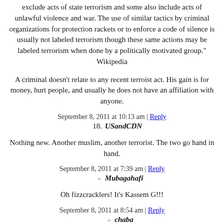exclude acts of state terrorism and some also include acts of unlawful violence and war. The use of similar tactics by criminal organizations for protection rackets or to enforce a code of silence is usually not labeled terrorism though these same actions may be labeled terrorism when done by a politically motivated group." Wikipedia
A criminal doesn't relate to any recent terroist act. His gain is for money, hurt people, and usually he does not have an affiliation with anyone.
September 8, 2011 at 10:13 am | Reply
18. USandCDN
Nothing new. Another muslim, another terrorist. The two go hand in hand.
September 8, 2011 at 7:39 am | Reply
○ Mubagahafi
Oh fizzcracklers! It's Kassem G!!!
September 8, 2011 at 8:54 am | Reply
○ chaba